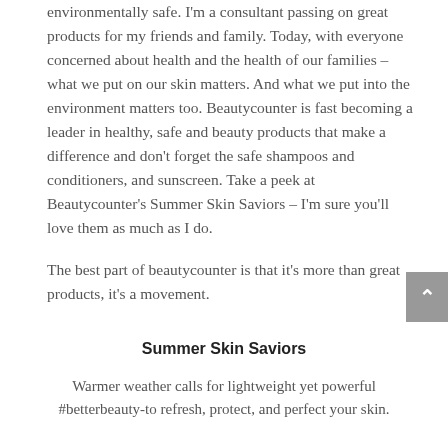environmentally safe. I'm a consultant passing on great products for my friends and family. Today, with everyone concerned about health and the health of our families – what we put on our skin matters. And what we put into the environment matters too. Beautycounter is fast becoming a leader in healthy, safe and beauty products that make a difference and don't forget the safe shampoos and conditioners, and sunscreen. Take a peek at Beautycounter's Summer Skin Saviors – I'm sure you'll love them as much as I do.
The best part of beautycounter is that it's more than great products, it's a movement.
Summer Skin Saviors
Warmer weather calls for lightweight yet powerful #betterbeauty-to refresh, protect, and perfect your skin.